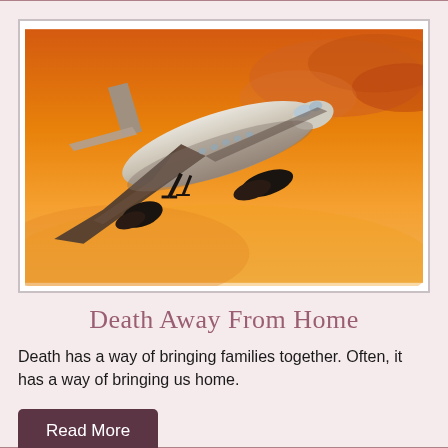[Figure (photo): A commercial airplane taking off against a dramatic orange sunset sky, viewed from below-front angle]
Death Away From Home
Death has a way of bringing families together. Often, it has a way of bringing us home.
Read More